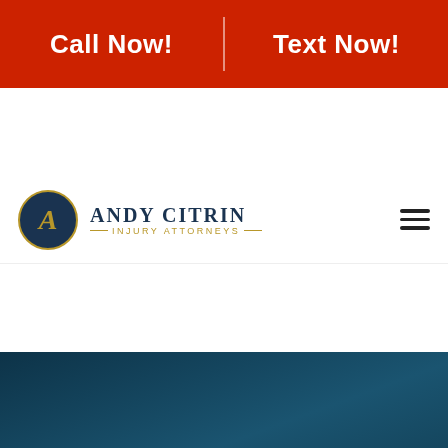Call Now! | Text Now!
[Figure (logo): Andy Citrin Injury Attorneys logo with circular gold-bordered navy emblem containing stylized letter A, beside firm name text]
Legal Protection After A Fatal Accident | Andy Citrin | Mobile, Alabama